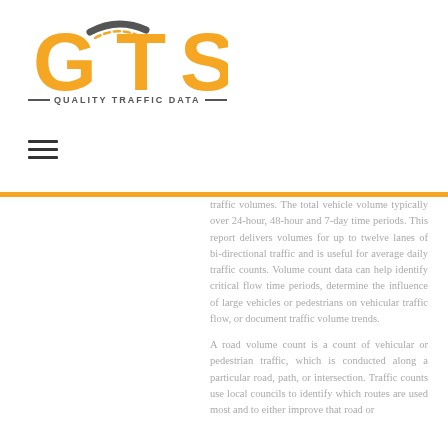[Figure (logo): GTS Quality Traffic Data logo with orange letters G, T, S and a curved road graphic, subtitle reads QUALITY TRAFFIC DATA]
traffic volumes. The total vehicle volume typically over 24-hour, 48-hour and 7-day time periods. This report delivers volumes for up to twelve lanes of bi-directional traffic and is useful for average daily traffic counts. Volume count data can help identify critical flow time periods, determine the influence of large vehicles or pedestrians on vehicular traffic flow, or document traffic volume trends.
A road volume count is a count of vehicular or pedestrian traffic, which is conducted along a particular road, path, or intersection. Traffic counts use local councils to identify which routes are used most and to either improve that road or